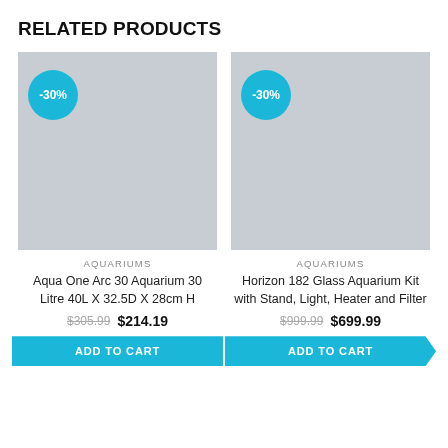RELATED PRODUCTS
[Figure (photo): Product image placeholder (grey rectangle) for Aqua One Arc 30 Aquarium with -30% badge]
AQUARIUMS
Aqua One Arc 30 Aquarium 30 Litre 40L X 32.5D X 28cm H
$305.99  $214.19
ADD TO CART
[Figure (photo): Product image placeholder (grey rectangle) for Horizon 182 Glass Aquarium Kit with -30% badge]
AQUARIUMS
Horizon 182 Glass Aquarium Kit with Stand, Light, Heater and Filter
$999.99  $699.99
ADD TO CART